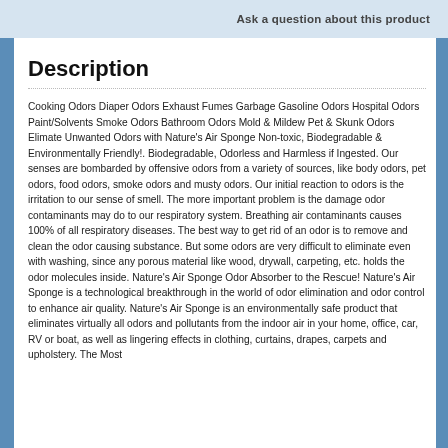Ask a question about this product
Description
Cooking Odors Diaper Odors Exhaust Fumes Garbage Gasoline Odors Hospital Odors Paint/Solvents Smoke Odors Bathroom Odors Mold & Mildew Pet & Skunk Odors Elimate Unwanted Odors with Nature's Air Sponge Non-toxic, Biodegradable & Environmentally Friendly!. Biodegradable, Odorless and Harmless if Ingested. Our senses are bombarded by offensive odors from a variety of sources, like body odors, pet odors, food odors, smoke odors and musty odors. Our initial reaction to odors is the irritation to our sense of smell. The more important problem is the damage odor contaminants may do to our respiratory system. Breathing air contaminants causes 100% of all respiratory diseases. The best way to get rid of an odor is to remove and clean the odor causing substance. But some odors are very difficult to eliminate even with washing, since any porous material like wood, drywall, carpeting, etc. holds the odor molecules inside. Nature's Air Sponge Odor Absorber to the Rescue! Nature's Air Sponge is a technological breakthrough in the world of odor elimination and odor control to enhance air quality. Nature's Air Sponge is an environmentally safe product that eliminates virtually all odors and pollutants from the indoor air in your home, office, car, RV or boat, as well as lingering effects in clothing, curtains, drapes, carpets and upholstery. The Most